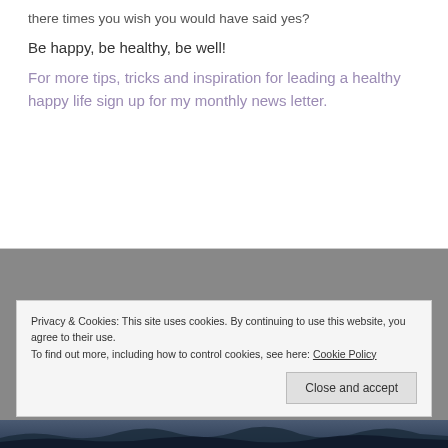there times you wish you would have said yes?
Be happy, be healthy, be well!
For more tips, tricks and inspiration for leading a healthy happy life sign up for my monthly news letter.
Privacy & Cookies: This site uses cookies. By continuing to use this website, you agree to their use.
To find out more, including how to control cookies, see here: Cookie Policy
Close and accept
[Figure (photo): Dark mountain/forest landscape photo at the bottom of the page]